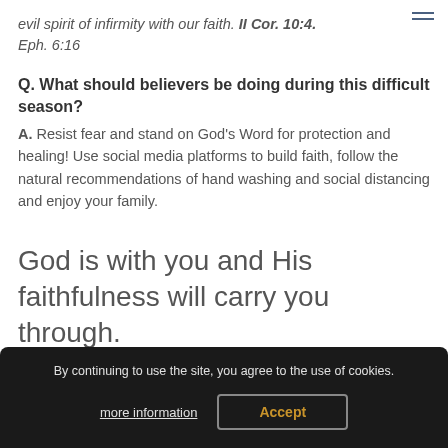evil spirit of infirmity with our faith. II Cor. 10:4. Eph. 6:16
Q. What should believers be doing during this difficult season?
A. Resist fear and stand on God's Word for protection and healing! Use social media platforms to build faith, follow the natural recommendations of hand washing and social distancing and enjoy your family.
God is with you and His faithfulness will carry you through.
By continuing to use the site, you agree to the use of cookies.
more information   Accept